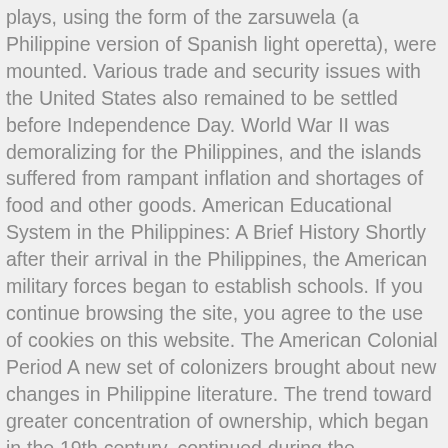plays, using the form of the zarsuwela (a Philippine version of Spanish light operetta), were mounted. Various trade and security issues with the United States also remained to be settled before Independence Day. World War II was demoralizing for the Philippines, and the islands suffered from rampant inflation and shortages of food and other goods. American Educational System in the Philippines: A Brief History Shortly after their arrival in the Philippines, the American military forces began to establish schools. If you continue browsing the site, you agree to the use of cookies on this website. The American Colonial Period A new set of colonizers brought about new changes in Philippine literature. The trend toward greater concentration of ownership, which began in the 19th century, continued during the American period, despite some legal barriers. Some of the notable literatures are a general reflection of the influence exerted by Spaniards during the colonization of Philippine. I agree that present day students of Philippine Literature are fortunate in that they no longer have to go by âmythâ of Pre-colonial Philippines, thanks to researches and writings about